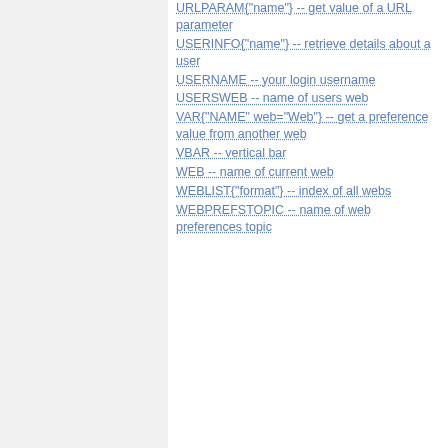URLPARAM{"name"} -- get value of a URL parameter
USERINFO{"name"} -- retrieve details about a user
USERNAME -- your login username
USERSWEB -- name of users web
VAR{"NAME" web="Web"} -- get a preference value from another web
VBAR -- vertical bar
WEB -- name of current web
WEBLIST{"format"} -- index of all webs
WEBPREFSTOPIC -- name of web preferences topic